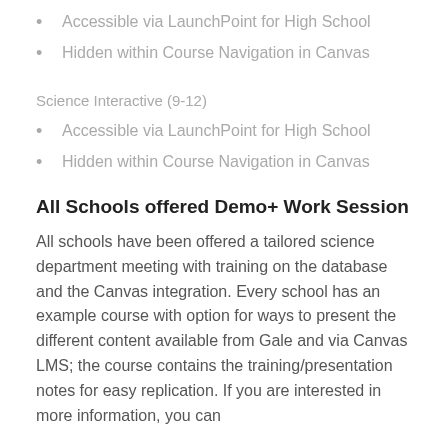Accessible via LaunchPoint for High School
Hidden within Course Navigation in Canvas
Science Interactive (9-12)
Accessible via LaunchPoint for High School
Hidden within Course Navigation in Canvas
All Schools offered Demo+ Work Session
All schools have been offered a tailored science department meeting with training on the database and the Canvas integration. Every school has an example course with option for ways to present the different content available from Gale and via Canvas LMS; the course contains the training/presentation notes for easy replication. If you are interested in more information, you can